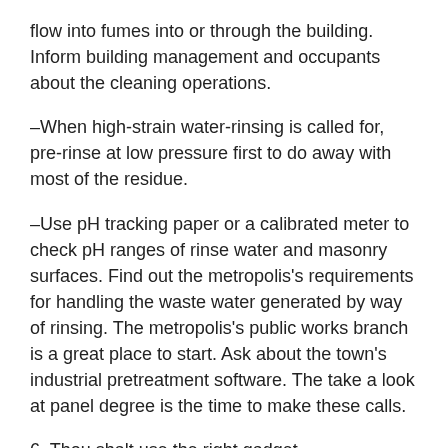flow into fumes into or through the building. Inform building management and occupants about the cleaning operations.
–When high-strain water-rinsing is called for, pre-rinse at low pressure first to do away with most of the residue.
–Use pH tracking paper or a calibrated meter to check pH ranges of rinse water and masonry surfaces. Find out the metropolis's requirements for handling the waste water generated by way of rinsing. The metropolis's public works branch is a great place to start. Ask about the town's industrial pretreatment software. The take a look at panel degree is the time to make these calls.
6. Thou shalt use the right gadget.
In a restrict ensure operations done with hand